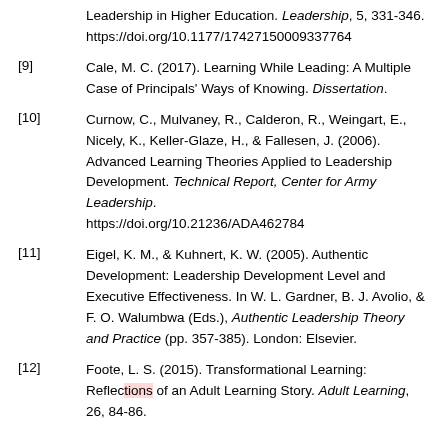Leadership in Higher Education. Leadership, 5, 331-346. https://doi.org/10.1177/17427150009337764
[9] Cale, M. C. (2017). Learning While Leading: A Multiple Case of Principals' Ways of Knowing. Dissertation.
[10] Curnow, C., Mulvaney, R., Calderon, R., Weingart, E., Nicely, K., Keller-Glaze, H., & Fallesen, J. (2006). Advanced Learning Theories Applied to Leadership Development. Technical Report, Center for Army Leadership. https://doi.org/10.21236/ADA462784
[11] Eigel, K. M., & Kuhnert, K. W. (2005). Authentic Development: Leadership Development Level and Executive Effectiveness. In W. L. Gardner, B. J. Avolio, & F. O. Walumbwa (Eds.), Authentic Leadership Theory and Practice (pp. 357-385). London: Elsevier.
[12] Foote, L. S. (2015). Transformational Learning: Reflections of an Adult Learning Story. Adult Learning, 26, 84-86.